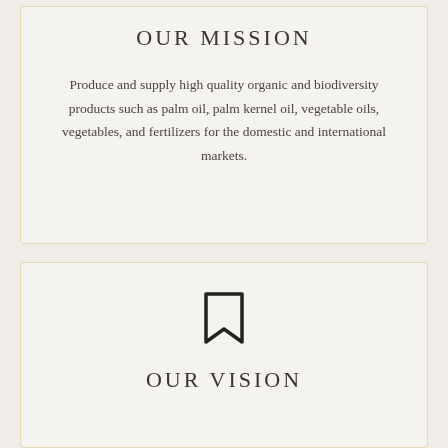OUR MISSION
Produce and supply high quality organic and biodiversity products such as palm oil, palm kernel oil, vegetable oils, vegetables, and fertilizers for the domestic and international markets.
[Figure (illustration): Bookmark icon outline]
OUR VISION